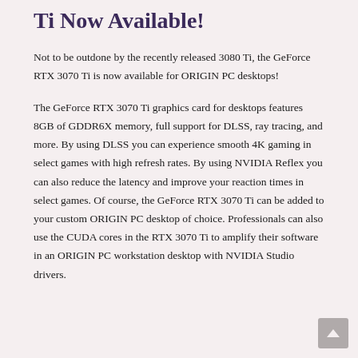Ti Now Available!
Not to be outdone by the recently released 3080 Ti, the GeForce RTX 3070 Ti is now available for ORIGIN PC desktops!
The GeForce RTX 3070 Ti graphics card for desktops features 8GB of GDDR6X memory, full support for DLSS, ray tracing, and more. By using DLSS you can experience smooth 4K gaming in select games with high refresh rates. By using NVIDIA Reflex you can also reduce the latency and improve your reaction times in select games. Of course, the GeForce RTX 3070 Ti can be added to your custom ORIGIN PC desktop of choice. Professionals can also use the CUDA cores in the RTX 3070 Ti to amplify their software in an ORIGIN PC workstation desktop with NVIDIA Studio drivers.